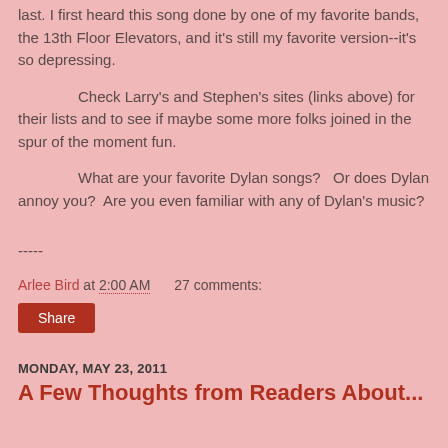last.  I first heard this song done by one of my favorite bands, the 13th Floor Elevators, and it's still my favorite version--it's so depressing.
Check Larry's and Stephen's sites (links above) for their lists and to see if maybe some more folks joined in the spur of the moment fun.
What are your favorite Dylan songs?   Or does Dylan annoy you?  Are you even familiar with any of Dylan's music?
-----
Arlee Bird at 2:00 AM    27 comments:
Share
MONDAY, MAY 23, 2011
A Few Thoughts from Readers About...